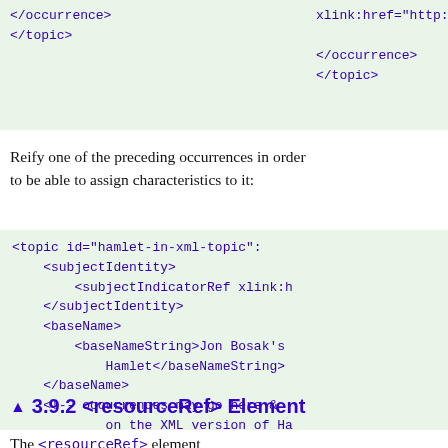[Figure (screenshot): Code block showing XML snippet with xlink:href, </occurrence>, and </topic> tags on green background]
Reify one of the preceding occurrences in order to be able to assign characteristics to it:
[Figure (screenshot): Code block showing XML topic element with id hamlet-in-xml-topic, subjectIdentity, subjectIndicatorRef, baseName, baseNameString containing Jon Bosak's Hamlet, comment about occurrences on XML version of Hamlet, and closing topic tag on green background]
3.9.2 <resourceRef> Element
The <resourceRef> element